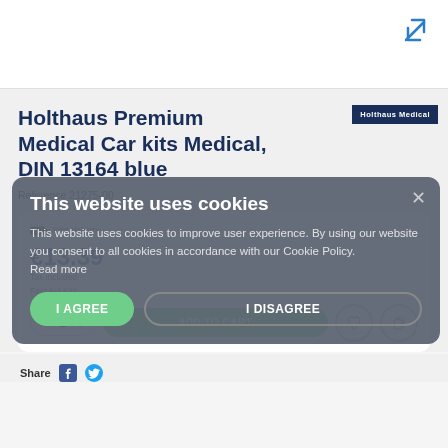[Figure (screenshot): Expand icon (diagonal arrows) in blue in top right corner]
Holthaus Premium Medical Car kits Medical, DIN 13164 blue
[Figure (logo): Holthaus Medical brand badge in dark navy rectangle]
Reference 21275-00
This website uses cookies
This website uses cookies to improve user experience. By using our website you consent to all cookies in accordance with our Cookie Policy. Read more
I AGREE
I DISAGREE
€13.39
Tax included
First Aid Kits
Share